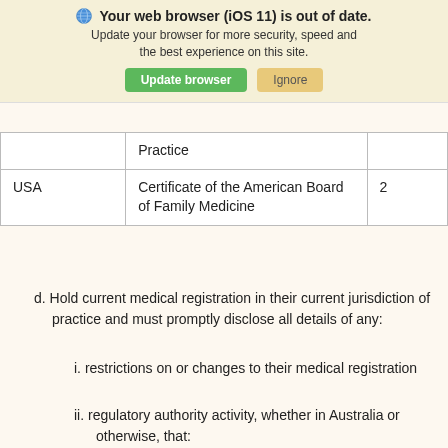[Figure (screenshot): Browser update warning banner with globe icon, bold title 'Your web browser (iOS 11) is out of date.', subtitle text, and two buttons: green 'Update browser' and tan 'Ignore']
|  | Practice |  |
| USA | Certificate of the American Board of Family Medicine | 2 |
d. Hold current medical registration in their current jurisdiction of practice and must promptly disclose all details of any:
i. restrictions on or changes to their medical registration
ii. regulatory authority activity, whether in Australia or otherwise, that: